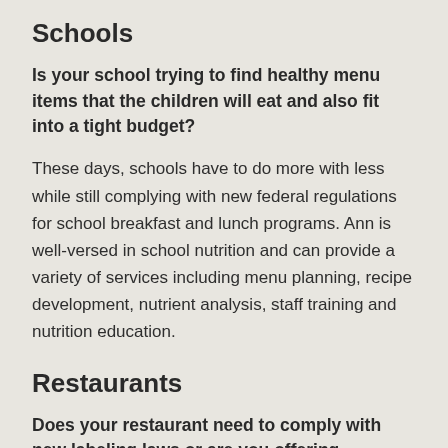Schools
Is your school trying to find healthy menu items that the children will eat and also fit into a tight budget?
These days, schools have to do more with less while still complying with new federal regulations for school breakfast and lunch programs. Ann is well-versed in school nutrition and can provide a variety of services including menu planning, recipe development, nutrient analysis, staff training and nutrition education.
Restaurants
Does your restaurant need to comply with new labeling laws or are you offering specialty items for sale and need a food label? Do you need to add